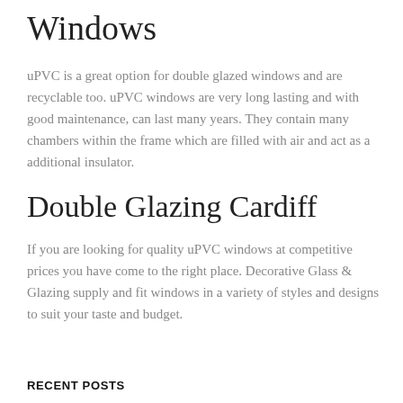Windows
uPVC is a great option for double glazed windows and are recyclable too. uPVC windows are very long lasting and with good maintenance, can last many years. They contain many chambers within the frame which are filled with air and act as a additional insulator.
Double Glazing Cardiff
If you are looking for quality uPVC windows at competitive prices you have come to the right place. Decorative Glass & Glazing supply and fit windows in a variety of styles and designs to suit your taste and budget.
RECENT POSTS